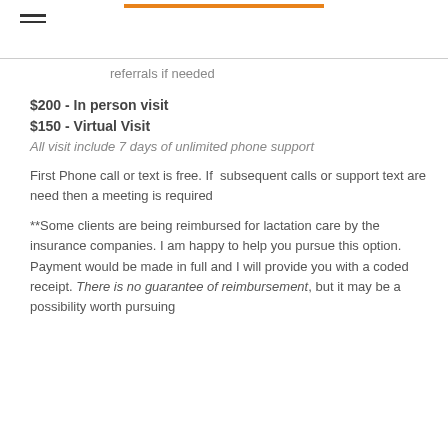referrals if needed
$200 - In person visit
$150 - Virtual Visit
All visit include 7 days of unlimited phone support
First Phone call or text is free. If subsequent calls or support text are need then a meeting is required
**Some clients are being reimbursed for lactation care by the insurance companies. I am happy to help you pursue this option. Payment would be made in full and I will provide you with a coded receipt. There is no guarantee of reimbursement, but it may be a possibility worth pursuing